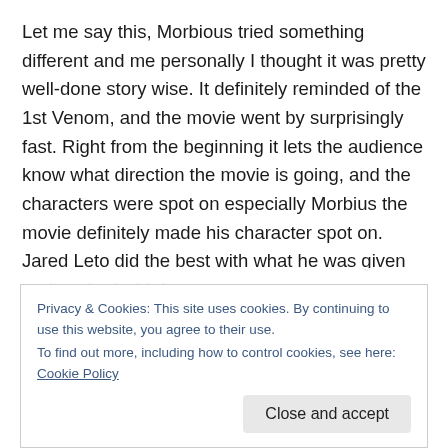Let me say this, Morbious tried something different and me personally I thought it was pretty well-done story wise. It definitely reminded of the 1st Venom, and the movie went by surprisingly fast. Right from the beginning it lets the audience know what direction the movie is going, and the characters were spot on especially Morbius the movie definitely made his character spot on. Jared Leto did the best with what he was given and worked with it.
He really felt like Morbius, especially when he learns how to use
We use cookies on our website to give you the most relevant experience by remembering your preferences and
Privacy & Cookies: This site uses cookies. By continuing to use this website, you agree to their use.
To find out more, including how to control cookies, see here: Cookie Policy
Close and accept